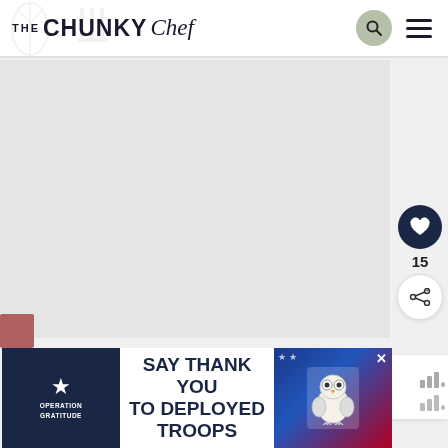[Figure (logo): The Chunky Chef website logo with decorative fork/leaf illustration in background]
[Figure (illustration): Search icon button (magnifying glass) in sage green circle]
[Figure (illustration): Hamburger menu icon (three horizontal lines)]
[Figure (photo): Large main food photo placeholder, light gray]
[Figure (illustration): Heart/like button (dark navy circle with heart icon), count 15, share button below]
15
[Figure (illustration): What's Next section with thumbnail of Maple Pecan Granola and arrow]
WHAT'S NEXT ➡ Maple Pecan Granola
[Figure (illustration): Mediavine bar/signal icons at bottom right]
[Figure (infographic): Advertisement banner: Operation Gratitude - SAY THANK YOU TO DEPLOYED TROOPS with patriotic owl graphic and close button]